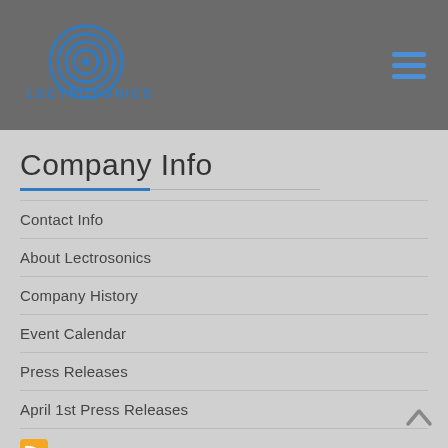Lectrosonics
Company Info
Contact Info
About Lectrosonics
Company History
Event Calendar
Press Releases
April 1st Press Releases
RSS Feeds